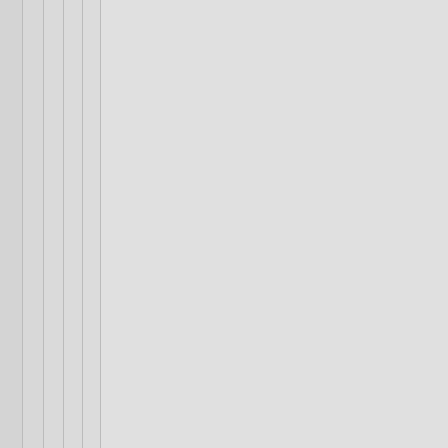by maxwell demon (1608) on (#128104) Journal
Who told you that, or c
Did you actually read the
--
The Tao of math: The num real numbers.
Parent
Re:Serio
by fnj (1654) on Sunday D
Yes, actually, I did. Wh tools don't allow to pip Because journalctl fully
Parent
Re:Ser
by maxwell demon (16 @08:42PM (#128115)